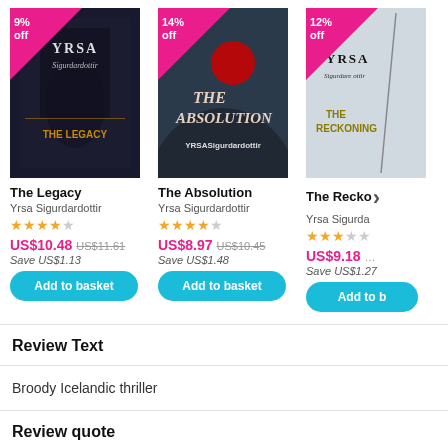[Figure (screenshot): Three book product cards showing: 1) The Legacy by Yrsa Sigurdardottir, 9% off, US$10.48 (was US$11.61, save US$1.13), 4-star rating; 2) The Absolution by Yrsa Sigurdardottir, 14% off, US$8.97 (was US$10.45, save US$1.48), 4-star rating; 3) The Reckoning by Yrsa Sigurdardottir (partially cut off), 12% off, US$9.18 (partially visible), each with Add to basket button.]
Review Text
Broody Icelandic thriller
Review quote